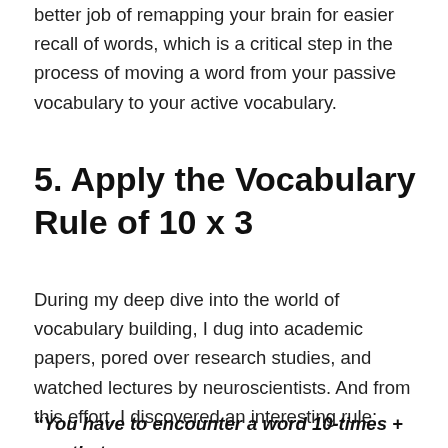better job of remapping your brain for easier recall of words, which is a critical step in the process of moving a word from your passive vocabulary to your active vocabulary.
5. Apply the Vocabulary Rule of 10 x 3
During my deep dive into the world of vocabulary building, I dug into academic papers, pored over research studies, and watched lectures by neuroscientists. And from this effort, I discovered an interesting rule:
“You have to encounter a word 10-times + use that